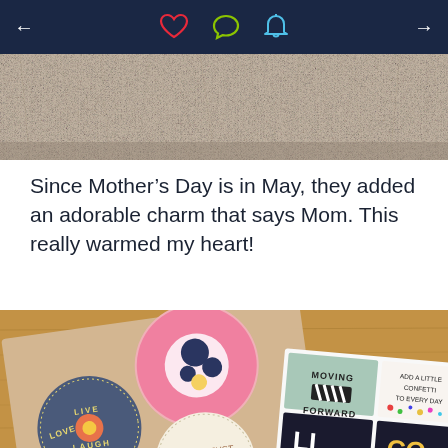← ♡ 💬 🔔 →
[Figure (photo): Close-up of a furry/fluffy textured surface in beige/tan color, partial view of what appears to be a decorative item]
Since Mother's Day is in May, they added an adorable charm that says Mom. This really warmed my heart!
[Figure (photo): Flat lay on a wooden surface showing decorative sticker sheets with circular floral designs (Live Love Laugh, You're Just, pink floral) and motivational card inserts (Moving Forward, Add a little confetti to every day, LI CO)]